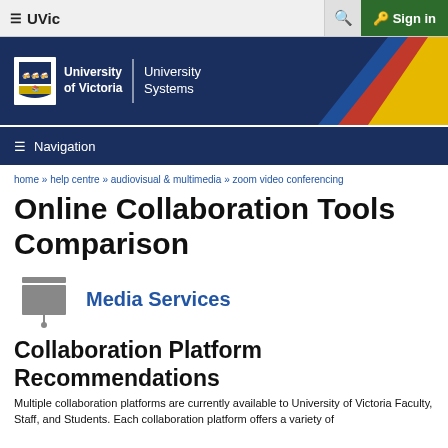≡ UVic | 🔍 | 🔑 Sign in
[Figure (logo): University of Victoria | University Systems banner with blue background and diagonal colored stripes (blue, red, yellow)]
≡ Navigation
home » help centre » audiovisual & multimedia » zoom video conferencing
Online Collaboration Tools Comparison
[Figure (logo): Media Services icon (projector/screen icon) with text Media Services]
Collaboration Platform Recommendations
Multiple collaboration platforms are currently available to University of Victoria Faculty, Staff, and Students. Each collaboration platform offers a variety of